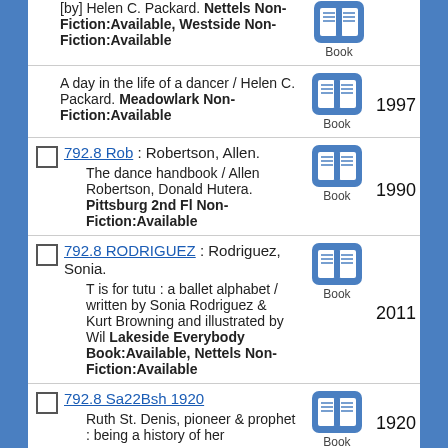[by] Helen C. Packard. Nettels Non-Fiction:Available, Westside Non-Fiction:Available
A day in the life of a dancer / Helen C. Packard. Meadowlark Non-Fiction:Available 1997
792.8 Rob : Robertson, Allen. The dance handbook / Allen Robertson, Donald Hutera. Pittsburg 2nd Fl Non-Fiction:Available 1990
792.8 RODRIGUEZ : Rodriguez, Sonia. T is for tutu : a ballet alphabet / written by Sonia Rodriguez & Kurt Browning and illustrated by Wil Lakeside Everybody Book:Available, Nettels Non-Fiction:Available 2011
792.8 Sa22Bsh 1920 Ruth St. Denis, pioneer & prophet : being a history of her 1920